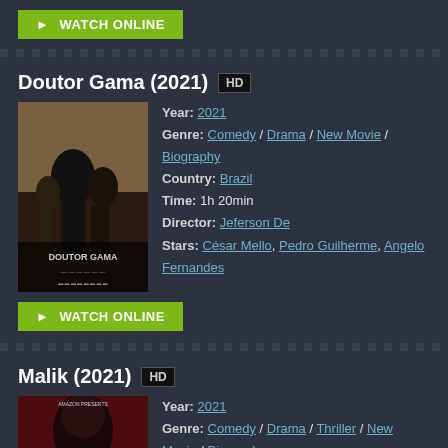[Figure (screenshot): Green WATCH ONLINE button with play arrow]
Doutor Gama (2021) HD
[Figure (photo): Movie poster for Doutor Gama (2021)]
Year: 2021
Genre: Comedy / Drama / New Movie / Biography
Country: Brazil
Time: 1h 20min
Director: Jeferson De
Stars: César Mello, Pedro Guilherme, Angelo Fernandes
[Figure (screenshot): Green WATCH ONLINE button with play arrow]
Malik (2021) HD
[Figure (photo): Movie poster for Malik (2021)]
Year: 2021
Genre: Comedy / Drama / Thriller / New Movie / Biography